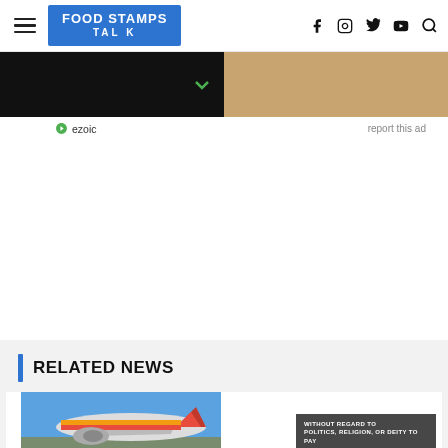FOOD STAMPS TALK
[Figure (screenshot): Advertisement banner with dark left half and sandy right half, ezoic badge and report this ad link below]
RELATED NEWS
[Figure (photo): Airplane on tarmac being loaded with cargo, with overlay badge reading WITHOUT REGARD TO POLITICS, RELIGION, OR DEITY TO PAY]